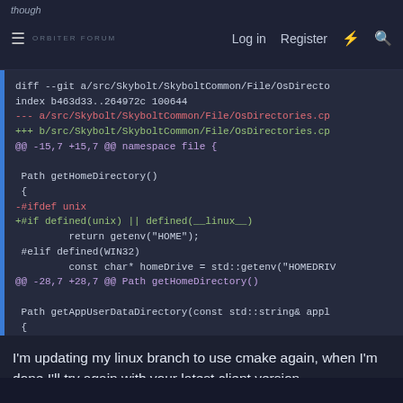though | ORBITER FORUM | Log in | Register
[Figure (screenshot): Git diff code block showing changes to OsDirectories.cpp, with diff headers, removed and added lines including #ifdef unix replaced with #if defined(unix) || defined(__linux__), and function signatures for getHomeDirectory() and getAppUserDataDirectory()]
I'm updating my linux branch to use cmake again, when I'm done I'll try again with your latest client version.